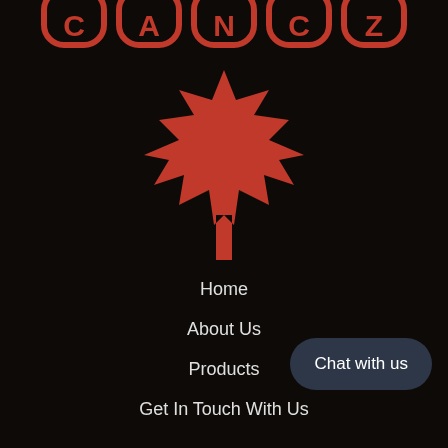[Figure (logo): Partial red bubble-letter logo text on black background, cropped at top]
[Figure (illustration): Red Canadian maple leaf icon centered on black background]
Home
About Us
Products
Get In Touch With Us
Chat with us